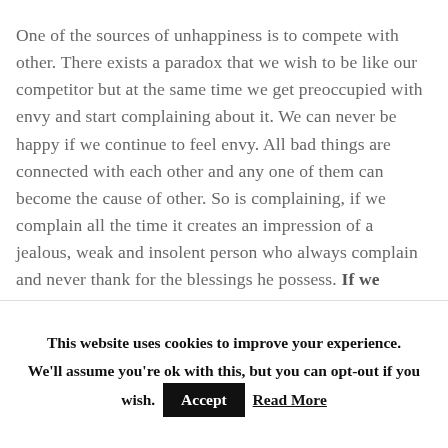One of the sources of unhappiness is to compete with other. There exists a paradox that we wish to be like our competitor but at the same time we get preoccupied with envy and start complaining about it. We can never be happy if we continue to feel envy. All bad things are connected with each other and any one of them can become the cause of other. So is complaining, if we complain all the time it creates an impression of a jealous, weak and insolent person who always complain and never thank for the blessings he possess. If we always chose complaining for our needs to be known, it will
This website uses cookies to improve your experience. We'll assume you're ok with this, but you can opt-out if you wish. Accept Read More